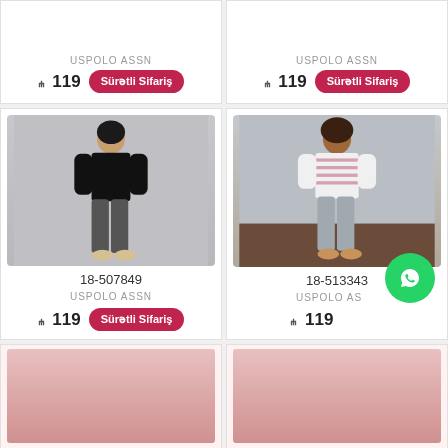[Figure (screenshot): Top partial product card left: USPOLO ASSN brand, price ₼119, Sürətli Sifariş button]
[Figure (screenshot): Top partial product card right: USPOLO ASSN brand, price ₼119, Sürətli Sifariş button]
[Figure (photo): Product card: woman wearing black long-sleeve polo shirt with dark jeans and striped sneakers. Code: 18-507849, Brand: USPOLO ASSN, Price: ₼119]
[Figure (photo): Product card: woman wearing white/pink striped shirt with grey jeans and sandals. Code: 18-513343, Brand: USPOLO ASSN, Price: ₼119. WhatsApp chat button overlaid bottom-right.]
[Figure (screenshot): Bottom partial product card left (partially visible)]
[Figure (screenshot): Bottom partial product card right (partially visible)]